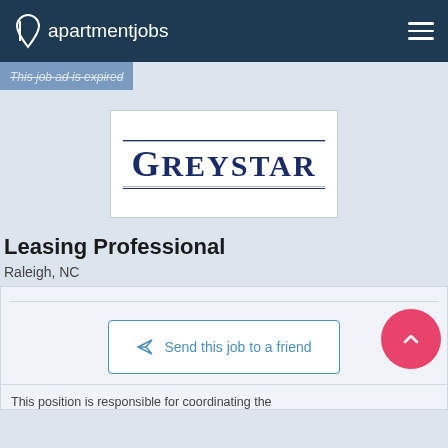apartmentjobs
This job ad is expired
[Figure (logo): Greystar company logo — large dark navy serif text 'GREYSTAR' with decorative double horizontal lines above and below, on a white rectangular background]
Leasing Professional
Raleigh, NC
Send this job to a friend
This position is responsible for coordinating the